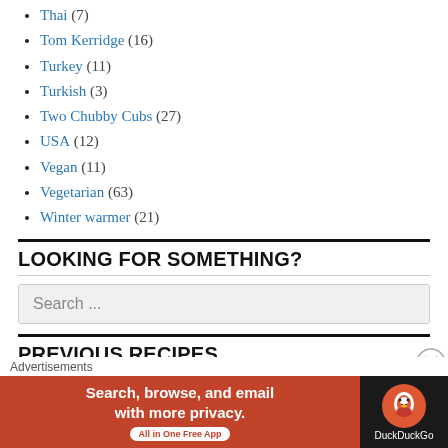Thai (7)
Tom Kerridge (16)
Turkey (11)
Turkish (3)
Two Chubby Cubs (27)
USA (12)
Vegan (11)
Vegetarian (63)
Winter warmer (21)
LOOKING FOR SOMETHING?
Search ...
PREVIOUS RECIPES
March 2022 (2)
[Figure (screenshot): DuckDuckGo advertisement banner: Search, browse, and email with more privacy. All in One Free App]